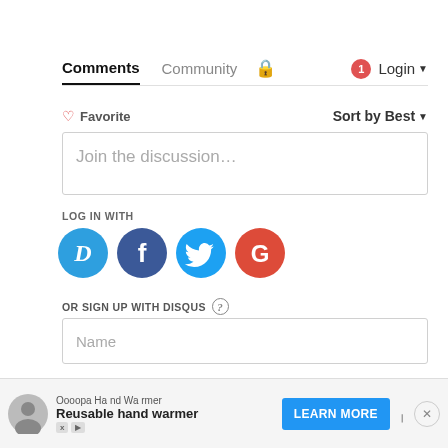Comments  Community  Login
Favorite   Sort by Best
Join the discussion…
LOG IN WITH
[Figure (infographic): Social login icons: Disqus (blue speech bubble D), Facebook (dark blue circle F), Twitter (light blue circle bird), Google (red circle G)]
OR SIGN UP WITH DISQUS ?
Name
[Figure (infographic): Bottom advertisement bar: Oooopa Hand Warmer - Reusable hand warmer, with LEARN MORE button and close X button]